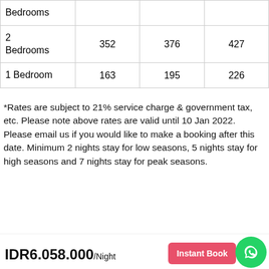|  |  |  |  |
| --- | --- | --- | --- |
| Bedrooms |  |  |  |
| 2 Bedrooms | 352 | 376 | 427 |
| 1 Bedroom | 163 | 195 | 226 |
*Rates are subject to 21% service charge & government tax, etc. Please note above rates are valid until 10 Jan 2022. Please email us if you would like to make a booking after this date. Minimum 2 nights stay for low seasons, 5 nights stay for high seasons and 7 nights stay for peak seasons.
Seasons Period
| Low Season | High Season | Peak Season |
| --- | --- | --- |
| 06 Jan – 31 Mar |  |  |
IDR6.058.000/Night   Instant Book